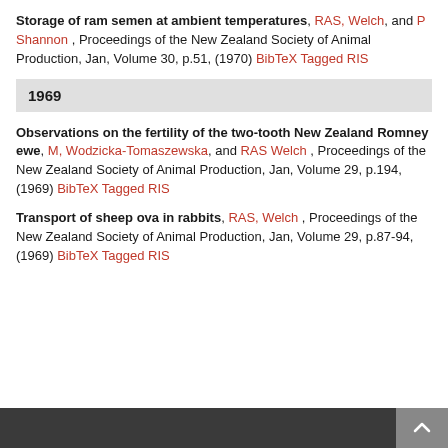Storage of ram semen at ambient temperatures, RAS, Welch, and P Shannon, Proceedings of the New Zealand Society of Animal Production, Jan, Volume 30, p.51, (1970) BibTeX Tagged RIS
1969
Observations on the fertility of the two-tooth New Zealand Romney ewe, M, Wodzicka-Tomaszewska, and RAS Welch, Proceedings of the New Zealand Society of Animal Production, Jan, Volume 29, p.194, (1969) BibTeX Tagged RIS
Transport of sheep ova in rabbits, RAS, Welch, Proceedings of the New Zealand Society of Animal Production, Jan, Volume 29, p.87-94, (1969) BibTeX Tagged RIS